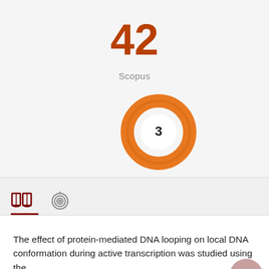42
Scopus
[Figure (donut-chart): Citations donut chart]
[Figure (other): Tab bar with book icon (active, underlined in dark red) and fingerprint/spiral icon]
The effect of protein-mediated DNA looping on local DNA conformation during active transcription was studied using the